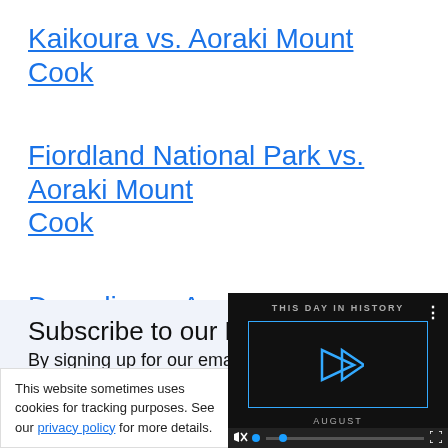Kaikoura vs. Aoraki Mount Cook
Fiordland National Park vs. Aoraki Mount Cook
Dunedin vs. Aoraki Mount Cook
Subscribe to our Newsletter
By signing up for our email newsletter, you will receive occasional travel tips and discounts, plu...from our...
This website sometimes uses cookies for tracking purposes. See our privacy policy for more details.
[Figure (screenshot): Video player overlay showing 'THIS DAY IN HISTORY' with a play button, mute icon, progress bar with blue dot, and fullscreen icon on dark background.]